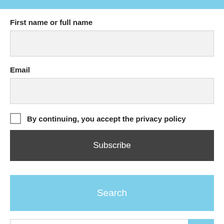[Figure (other): Blue horizontal bar at top of page]
First name or full name
[Figure (other): Text input field for first name or full name]
Email
[Figure (other): Text input field for email]
By continuing, you accept the privacy policy
[Figure (other): Subscribe button (dark gray)]
[Figure (other): Search button (light blue)]
[Figure (other): Search here... input box with scroll-to-top button]